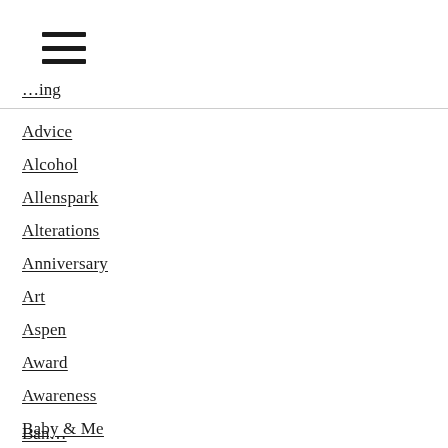[Figure (other): Hamburger menu icon (three horizontal bars)]
Advertising (partial, top)
Advice
Alcohol
Allenspark
Alterations
Anniversary
Art
Aspen
Award
Awareness
Baby & Me
Baby Shower
Babysitter
Bachelor
Bachelorette
Ball
Band... (partial, bottom)